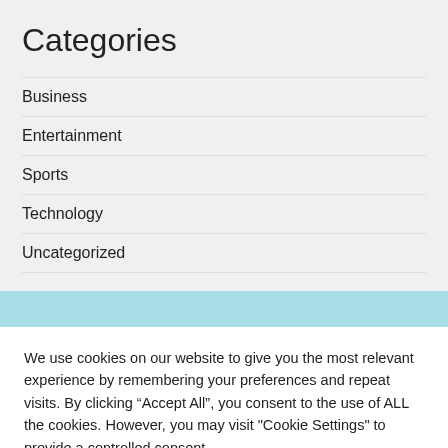Categories
Business
Entertainment
Sports
Technology
Uncategorized
We use cookies on our website to give you the most relevant experience by remembering your preferences and repeat visits. By clicking “Accept All”, you consent to the use of ALL the cookies. However, you may visit "Cookie Settings" to provide a controlled consent.
Cookie Settings | Accept All